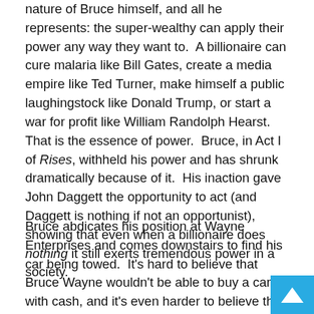nature of Bruce himself, and all he represents: the super-wealthy can apply their power any way they want to. A billionaire can cure malaria like Bill Gates, create a media empire like Ted Turner, make himself a public laughingstock like Donald Trump, or start a war for profit like William Randolph Hearst. That is the essence of power. Bruce, in Act I of Rises, withheld his power and has shrunk dramatically because of it. His inaction gave John Daggett the opportunity to act (and Daggett is nothing if not an opportunist), showing that even when a billionaire does nothing it still exerts tremendous power in a society.
Bruce abdicates his position at Wayne Enterprises and comes downstairs to find his car being towed. It's hard to believe that Bruce Wayne wouldn't be able to buy a car with cash, and it's even harder to believe that the car company would get their repo men out so quickly, and it's harder still to believe that Bruce Wayne doesn't have someone to prevent...